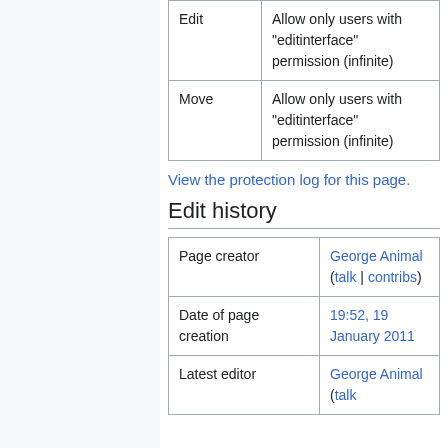| Edit | Allow only users with "editinterface" permission (infinite) |
| Move | Allow only users with "editinterface" permission (infinite) |
View the protection log for this page.
Edit history
| Page creator | George Animal (talk | contribs) |
| Date of page creation | 19:52, 19 January 2011 |
| Latest editor | George Animal (talk |